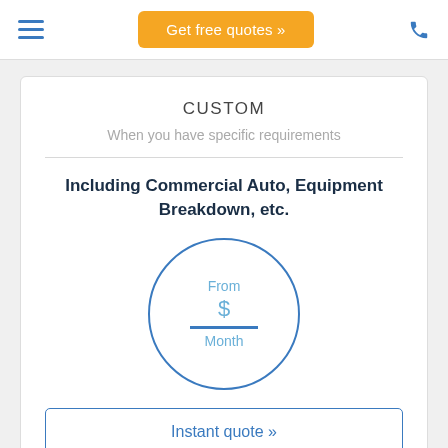Get free quotes »
CUSTOM
When you have specific requirements
Including Commercial Auto, Equipment Breakdown, etc.
[Figure (infographic): Circle with 'From', dollar sign, horizontal line, and 'Month' text inside, indicating a price display with no value shown]
Instant quote »